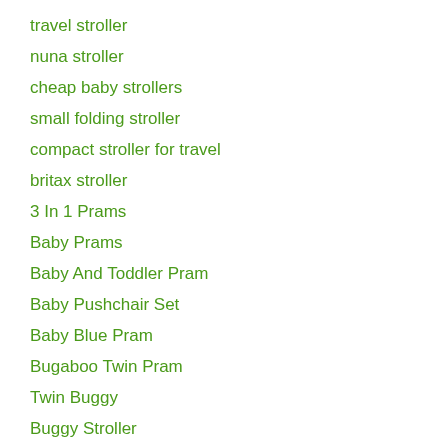travel stroller
nuna stroller
cheap baby strollers
small folding stroller
compact stroller for travel
britax stroller
3 In 1 Prams
Baby Prams
Baby And Toddler Pram
Baby Pushchair Set
Baby Blue Pram
Bugaboo Twin Pram
Twin Buggy
Buggy Stroller
Out And About Double Buggy